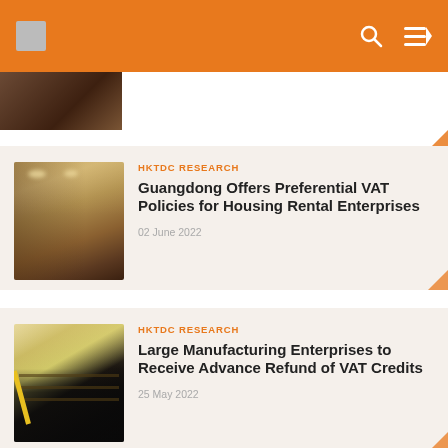HKTDC Research
[Figure (screenshot): Partial thumbnail image of a room interior, partially visible at top of page]
[Figure (photo): Thumbnail of a room interior with wooden flooring and ceiling lights]
HKTDC RESEARCH
Guangdong Offers Preferential VAT Policies for Housing Rental Enterprises
02 June 2022
[Figure (photo): Thumbnail of an abacus with yellow pencil on a desk]
HKTDC RESEARCH
Large Manufacturing Enterprises to Receive Advance Refund of VAT Credits
25 May 2022